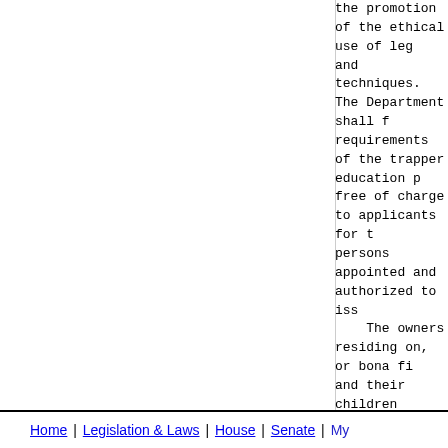the promotion of the ethical use of leg and techniques. The Department shall f requirements of the trapper education p free of charge to applicants for t persons appointed and authorized to iss     The owners residing on, or bona fi and their children actually residing o the right to trap mammals protected b open trapping season has been establ without procuring licenses, provided th during the periods of time and wi permitted by this Act.     Any person on active duty in the A with a disability who is a resident of the species protected by Section 2.2, such devices, and by such methods as a without procuring a trapping license.  Section, a person is considered a pers or she has a Type 1 or Type 4, Class 2 Section 4A of the Illinois Identificati of this Section, an Illinois Per Identification Card issued pursua Identification Card Act indicating that has a Type 1 or Type 4, Class 2 disa documentation of such a disability. (Source: P.A. 101-81, eff. 7-12-19; 10 813, eff. 5-13-22.)
Home | Legislation & Laws | House | Senate | My